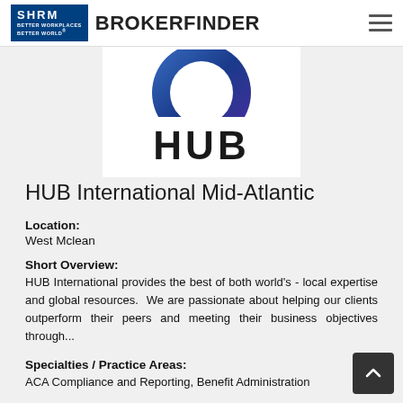SHRM BROKERFINDER
[Figure (logo): HUB International logo: blue circular arc/ring shape above bold black text 'HUB']
HUB International Mid-Atlantic
Location:
West Mclean
Short Overview:
HUB International provides the best of both world's - local expertise and global resources. We are passionate about helping our clients outperform their peers and meeting their business objectives through...
Specialties / Practice Areas:
ACA Compliance and Reporting, Benefit Administration